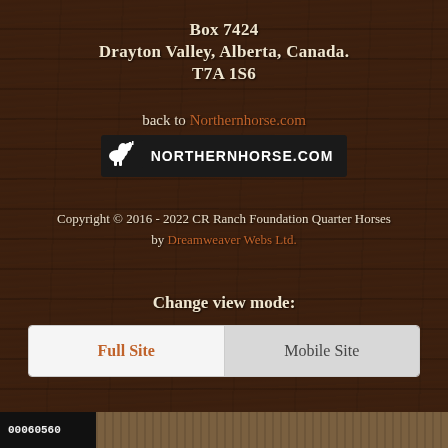Box 7424
Drayton Valley, Alberta, Canada.
T7A 1S6
back to Northernhorse.com
[Figure (logo): NorthernHorse.com logo with horse icon on dark background]
Copyright © 2016 - 2022 CR Ranch Foundation Quarter Horses by Dreamweaver Webs Ltd.
Change view mode:
Full Site | Mobile Site
00060560